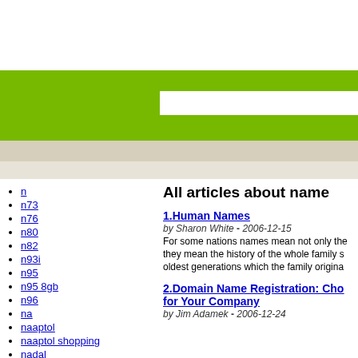[Figure (screenshot): White header area at top of webpage]
[Figure (screenshot): Green navigation/header bar with white search box input field]
[Figure (screenshot): Beige/tan navigation bar]
[Figure (screenshot): Light beige sub-navigation bar]
n
n73
n76
n80
n82
n93i
n95
n95 8gb
n96
na
naaptol
naaptol shopping
nadal
nail
All articles about name
1.Human Names - by Sharon White - 2006-12-15 - For some nations names mean not only the... they mean the history of the whole family s... oldest generations which the family origina...
2.Domain Name Registration: Cho... for Your Company - by Jim Adamek - 2006-12-24